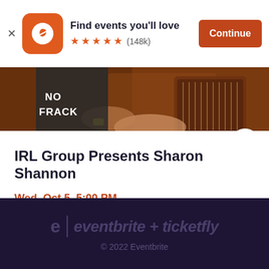[Figure (screenshot): Eventbrite app banner with orange logo, 'Find events you'll love' text, 5 star rating (148k reviews), and orange Continue button]
[Figure (photo): Concert/event photo showing hands playing an accordion, person wearing 'NO FRACK' t-shirt, warm orange tones]
IRL Group Presents Sharon Shannon
Wed, Oct 5, 5:00 PM
Donnellan's Irish Pub • Vancouver, BC
$38.15 - $48.76
eventbrite + ticketfly
© 2022 Eventbrite